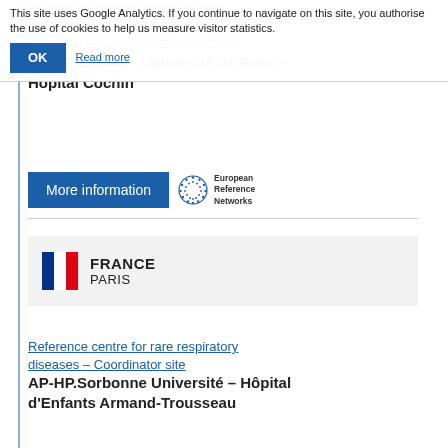This site uses Google Analytics. If you continue to navigate on this site, you authorise the use of cookies to help us measure visitor statistics.
National reference centre for cystic fibrosis and diseases related to an abnormal CFTR - Coordinator centre
AP-HP.Centre – Université de Paris – Hôpital Cochin
[Figure (logo): More information button (blue) and European Reference Networks logo]
[Figure (infographic): France / Paris location block with French flag on light grey background]
Reference centre for rare respiratory diseases - Coordinator site
AP-HP.Sorbonne Université – Hôpital d'Enfants Armand-Trousseau